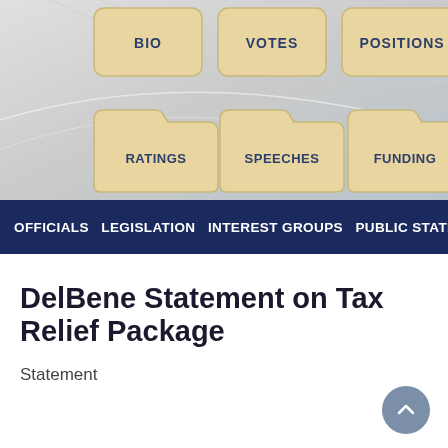[Figure (screenshot): Website navigation interface showing six folder/icon buttons: BIO, VOTES, POSITIONS (top row as document icons), RATINGS, SPEECHES, FUNDING (bottom row as folder icons) on a gray gradient background with decorative curves]
OFFICIALS   LEGISLATION   INTEREST GROUPS   PUBLIC STATI
DelBene Statement on Tax Relief Package
Statement